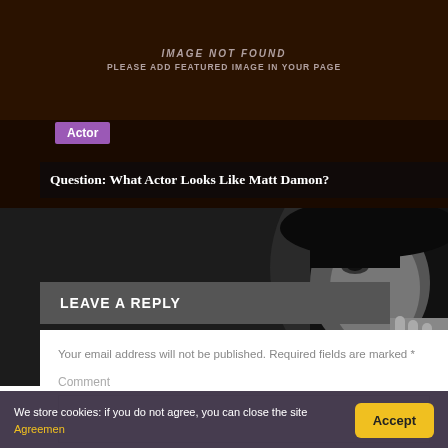[Figure (illustration): Image not found placeholder with dark brown background and text 'IMAGE NOT FOUND / PLEASE ADD FEATURED IMAGE IN YOUR PAGE']
Actor
Question: What Actor Looks Like Matt Damon?
[Figure (photo): Black and white photo of a woman with dark hair, looking at the camera with her hand near her chin.]
LEAVE A REPLY
Your email address will not be published. Required fields are marked *
Comment
We store cookies: if you do not agree, you can close the site Agreemen